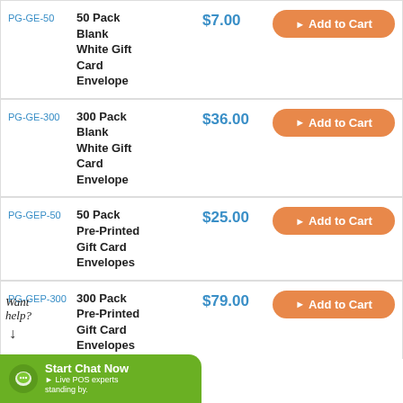| SKU | Product | Price | Action |
| --- | --- | --- | --- |
| PG-GE-50 | 50 Pack Blank White Gift Card Envelope | $7.00 | Add to Cart |
| PG-GE-300 | 300 Pack Blank White Gift Card Envelope | $36.00 | Add to Cart |
| PG-GEP-50 | 50 Pack Pre-Printed Gift Card Envelopes | $25.00 | Add to Cart |
| PG-GEP-300 | 300 Pack Pre-Printed Gift Card Envelopes | $79.00 | Add to Cart |
Want help? (with arrow pointing to chat)
Start Chat Now ▶ Live POS experts standing by.